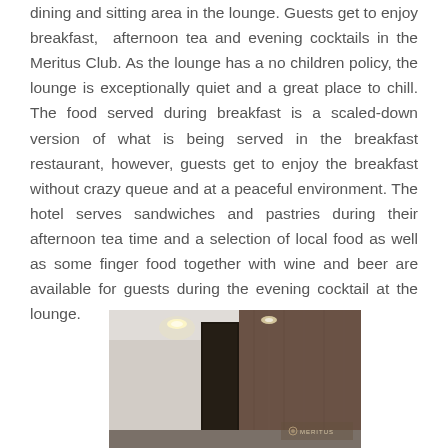dining and sitting area in the lounge. Guests get to enjoy breakfast, afternoon tea and evening cocktails in the Meritus Club. As the lounge has a no children policy, the lounge is exceptionally quiet and a great place to chill. The food served during breakfast is a scaled-down version of what is being served in the breakfast restaurant, however, guests get to enjoy the breakfast without crazy queue and at a peaceful environment. The hotel serves sandwiches and pastries during their afternoon tea time and a selection of local food as well as some finger food together with wine and beer are available for guests during the evening cocktail at the lounge.
[Figure (photo): Interior photo of the Meritus Club lounge showing a dark wood paneled wall on the right, light ceiling with spotlights, a dark divider panel in the center, and the Meritus logo partially visible at the bottom right.]